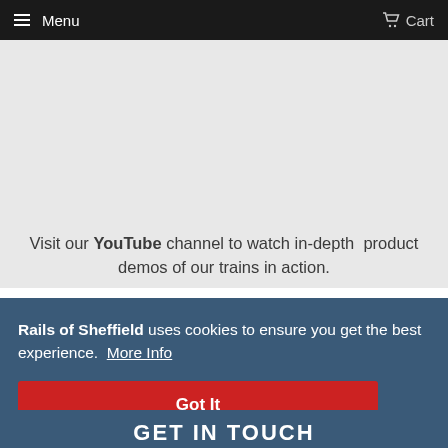Menu   Cart
[Figure (other): Gray empty area, likely a video or image placeholder]
Visit our YouTube channel to watch in-depth product demos of our trains in action.
Rails of Sheffield uses cookies to ensure you get the best experience. More Info
Got It
GET IN TOUCH